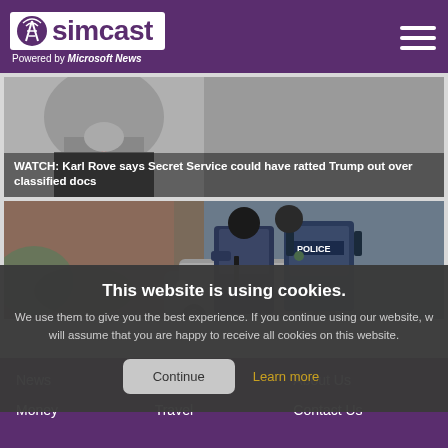[Figure (logo): Simcast logo with antenna icon on white background, purple header with hamburger menu]
Powered by Microsoft News
[Figure (photo): News article image with overlay headline: WATCH: Karl Rove says Secret Service could have ratted Trump out over classified docs]
[Figure (photo): Photo of police officers in tactical gear with POLICE vest visible, standing near a vintage car outside a brick building]
This website is using cookies.
We use them to give you the best experience. If you continue using our website, we will assume that you are happy to receive all cookies on this website.
Continue
Learn more
News
Health
About Us
Money
Travel
Contact Us